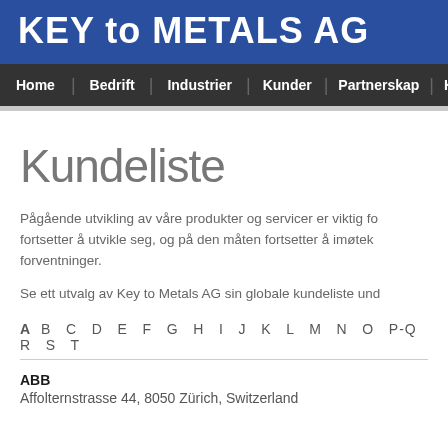KEY to METALS AG
Home | Bedrift | Industrier | Kunder | Partnerskap | K
Kundeliste
Pågående utvikling av våre produkter og servicer er viktig fo... fortsetter å utvikle seg, og på den måten fortsetter å imøte... forventninger.
Se ett utvalg av Key to Metals AG sin globale kundeliste und...
A B C D E F G H I J K L M N O P-Q R S T
ABB
Affolternstrasse 44, 8050 Zürich, Switzerland